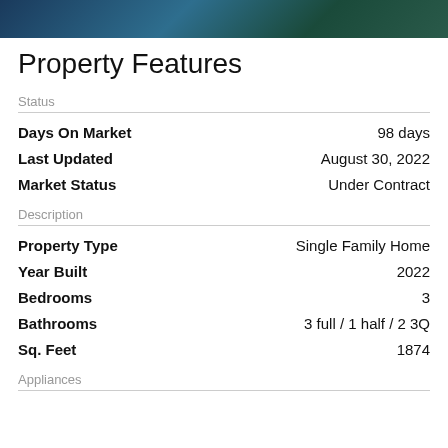[Figure (photo): Header image with dark blue and teal tones]
Property Features
Status
| Field | Value |
| --- | --- |
| Days On Market | 98 days |
| Last Updated | August 30, 2022 |
| Market Status | Under Contract |
Description
| Field | Value |
| --- | --- |
| Property Type | Single Family Home |
| Year Built | 2022 |
| Bedrooms | 3 |
| Bathrooms | 3 full / 1 half / 2 3Q |
| Sq. Feet | 1874 |
Appliances